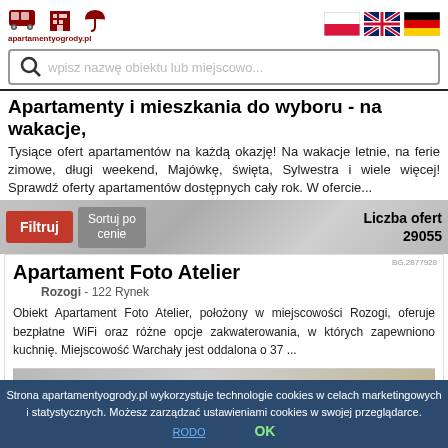apartamentyogrody.pl
wpisz nazwę obiektu lub miejscowo...
Apartamenty i mieszkania do wyboru - na wakacje,
Tysiące ofert apartamentów na każdą okazję! Na wakacje letnie, na ferie zimowe, długi weekend, Majówkę, święta, Sylwestra i wiele więcej! Sprawdź oferty apartamentów dostępnych cały rok. W ofercie...
Filtruj   Sortuj po cenie   Liczba ofert 29055
Apartament Foto Atelier
Rozogi - 122 Rynek
BG.2877928
Obiekt Apartament Foto Atelier, położony w miejscowości Rozogi, oferuje bezpłatne WiFi oraz różne opcje zakwaterowania, w których zapewniono kuchnię. Miejscowość Warchały jest oddalona o 37 ...
Strona apartamentyogrody.pl wykorzystuje technologie cookies w celach marketingowych i statystycznych. Możesz zarządzać ustawieniami cookies w swojej przeglądarce. RODO   OK